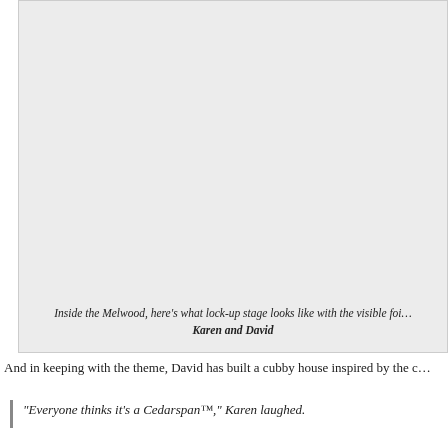[Figure (photo): Interior photo of the Melwood at lock-up stage showing visible foil, featuring Karen and David]
Inside the Melwood, here's what lock-up stage looks like with the visible foil… Karen and David
And in keeping with the theme, David has built a cubby house inspired by the c…
“Everyone thinks it’s a Cedarspan™,” Karen laughed.